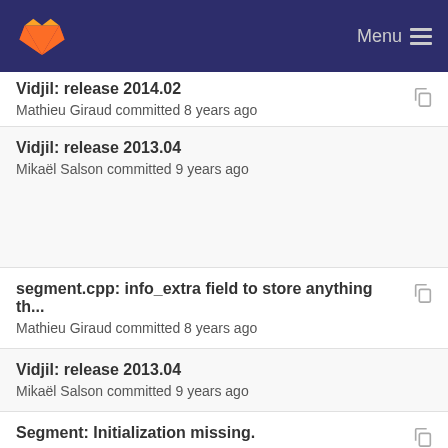GitLab — Menu
Vidjil: release 2014.02
Mathieu Giraud committed 8 years ago
Vidjil: release 2013.04
Mikaël Salson committed 9 years ago
segment.cpp: info_extra field to store anything th...
Mathieu Giraud committed 8 years ago
Vidjil: release 2013.04
Mikaël Salson committed 9 years ago
Segment: Initialization missing.
Mikaël Salson committed 8 years ago
Vidjil: release 2014.02
Mathieu Giraud committed 8 years ago
Vidjil: release 2013.04
Mikaël Salson committed 9 years ago